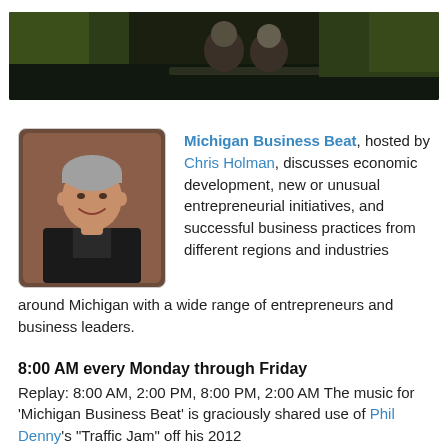[Figure (photo): Two older men seen from behind, sitting outdoors near water with green trees in background. Dark/moody color tone.]
[Figure (photo): Portrait photo of Chris Holman, an older man in a dark jacket, smiling.]
Michigan Business Beat, hosted by Chris Holman, discusses economic development, new or unusual entrepreneurial initiatives, and successful business practices from different regions and industries around Michigan with a wide range of entrepreneurs and business leaders.
8:00 AM every Monday through Friday
Replay: 8:00 AM, 2:00 PM, 8:00 PM, 2:00 AM The music for 'Michigan Business Beat' is graciously shared use of Phil Denny's "Traffic Jam" off his 2012